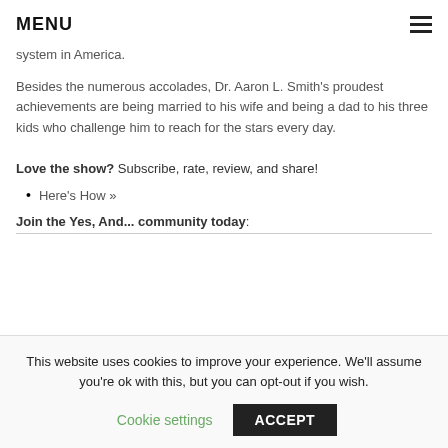MENU
system in America.
Besides the numerous accolades, Dr. Aaron L. Smith's proudest achievements are being married to his wife and being a dad to his three kids who challenge him to reach for the stars every day.
Love the show? Subscribe, rate, review, and share!
Here's How »
Join the Yes, And... community today:
This website uses cookies to improve your experience. We'll assume you're ok with this, but you can opt-out if you wish.
Cookie settings
ACCEPT